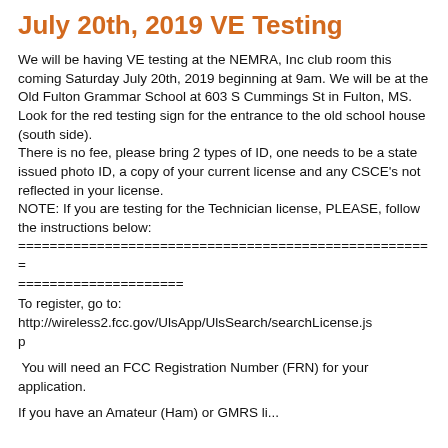July 20th, 2019 VE Testing
We will be having VE testing at the NEMRA, Inc club room this coming Saturday July 20th, 2019 beginning at 9am. We will be at the Old Fulton Grammar School at 603 S Cummings St in Fulton, MS. Look for the red testing sign for the entrance to the old school house (south side).
There is no fee, please bring 2 types of ID, one needs to be a state issued photo ID, a copy of your current license and any CSCE's not reflected in your license.
NOTE: If you are testing for the Technician license, PLEASE, follow the instructions below:
=====================================================
=====================
To register, go to:
http://wireless2.fcc.gov/UlsApp/UlsSearch/searchLicense.jsp
You will need an FCC Registration Number (FRN) for your application.
If you have an Amateur (Ham) or GMRS license...